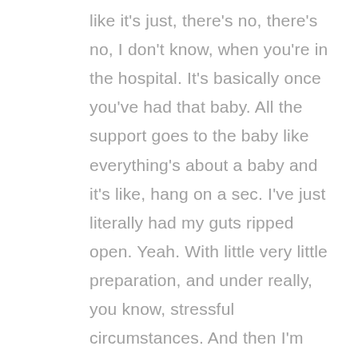like it's just, there's no, there's no, I don't know, when you're in the hospital. It's basically once you've had that baby. All the support goes to the baby like everything's about a baby and it's like, hang on a sec. I've just literally had my guts ripped open. Yeah. With little very little preparation, and under really, you know, stressful circumstances. And then I'm expected to look after this child like it just seems there's no care for the mothers that have been there. Yeah, and yeah, it took me a